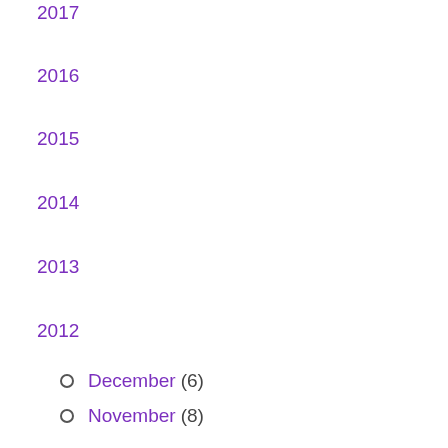2017
2016
2015
2014
2013
2012
December (6)
November (8)
October (9)
September (8)
August (8)
July (8)
June (8)
May (9)
April (7)
March (8)
February (7)